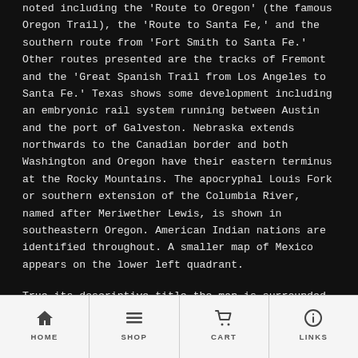noted including the 'Route to Oregon' (the famous Oregon Trail), the 'Route to Santa Fe,' and the southern route from 'Fort Smith to Santa Fe.' Other routes presented are the tracks of Fremont and the 'Great Spanish Trail from Los Angeles to Santa Fe.' Texas shows some development including an embryonic rail system running between Austin and the port of Galveston. Nebraska extends northwards to the Canadian border and both Washington and Oregon have their eastern terminus at the Rocky Mountains. The apocryphal Louis Fork or southern extension of the Columbia River, named after Meriwether Lewis, is shown in southeastern Oregon. American Indian nations are identified throughout. A smaller map of Mexico appears on the lower left quadrant.
True its descriptive title the map is surrounded by numerous pictorial vignettes illustrating, from the title clockwise: the Presidents of the United States, Perry's
HOME  SHOP  CART  LINKS